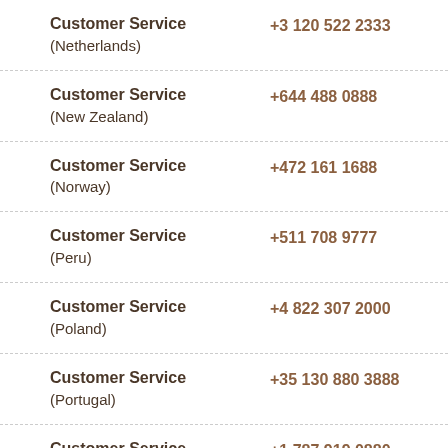| Service | Phone |
| --- | --- |
| Customer Service (Netherlands) | +3 120 522 2333 |
| Customer Service (New Zealand) | +644 488 0888 |
| Customer Service (Norway) | +472 161 1688 |
| Customer Service (Peru) | +511 708 9777 |
| Customer Service (Poland) | +4 822 307 2000 |
| Customer Service (Portugal) | +35 130 880 3888 |
| Customer Service | +1 787 919 0880 |